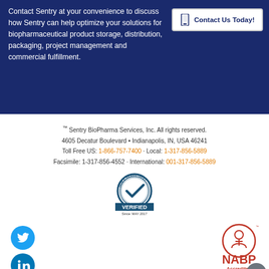Contact Sentry at your convenience to discuss how Sentry can help optimize your solutions for biopharmaceutical product storage, distribution, packaging, project management and commercial fulfillment.
Contact Us Today!
™ Sentry BioPharma Services, Inc. All rights reserved.
4605 Decatur Boulevard • Indianapolis, IN, USA 46241
Toll Free US: 1-866-757-7400 · Local: 1-317-856-5889
Facsimile: 1-317-856-4552 · International: 001-317-856-5889
[Figure (logo): Dun & Bradstreet VERIFIED Since: MAY 2017 badge]
[Figure (logo): Twitter social media icon - blue circle with bird]
[Figure (logo): LinkedIn social media icon - blue circle with 'in']
[Figure (logo): NABP Accredited Drug Distributor badge with red circle logo]